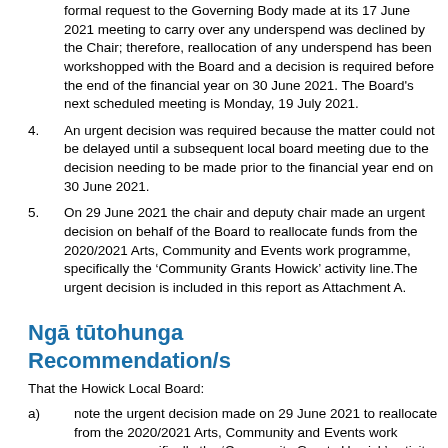formal request to the Governing Body made at its 17 June 2021 meeting to carry over any underspend was declined by the Chair; therefore, reallocation of any underspend has been workshopped with the Board and a decision is required before the end of the financial year on 30 June 2021. The Board's next scheduled meeting is Monday, 19 July 2021.
4. An urgent decision was required because the matter could not be delayed until a subsequent local board meeting due to the decision needing to be made prior to the financial year end on 30 June 2021.
5. On 29 June 2021 the chair and deputy chair made an urgent decision on behalf of the Board to reallocate funds from the 2020/2021 Arts, Community and Events work programme, specifically the ‘Community Grants Howick’ activity line.The urgent decision is included in this report as Attachment A.
Ngā tūtohunga Recommendation/s
That the Howick Local Board:
a) note the urgent decision made on 29 June 2021 to reallocate from the 2020/2021 Arts, Community and Events work programme, specifically the ‘Community Grants Howick’ activity line.